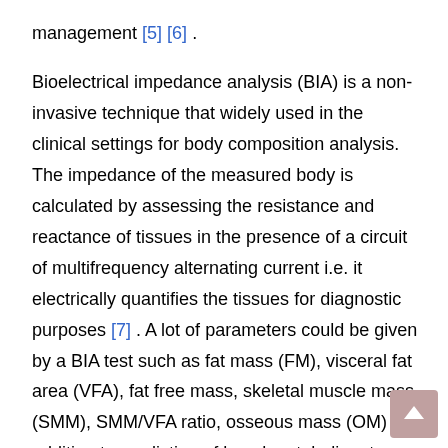management [5] [6] .

Bioelectrical impedance analysis (BIA) is a non-invasive technique that widely used in the clinical settings for body composition analysis. The impedance of the measured body is calculated by assessing the resistance and reactance of tissues in the presence of a circuit of multifrequency alternating current i.e. it electrically quantifies the tissues for diagnostic purposes [7] . A lot of parameters could be given by a BIA test such as fat mass (FM), visceral fat area (VFA), fat free mass, skeletal muscle mass (SMM), SMM/VFA ratio, osseous mass (OM) in addition to prediction of basal metabolic rate (BMR). It was reported that the BIA-estimated visceral fat area (eVFA) is highly related and close to that measured by computed tomography (CT) [8] . SMM/VFA ratio was proved to be the main factor in the relationship of the adipo-myokines such as iris in hormone to its metabolic functions [9] and